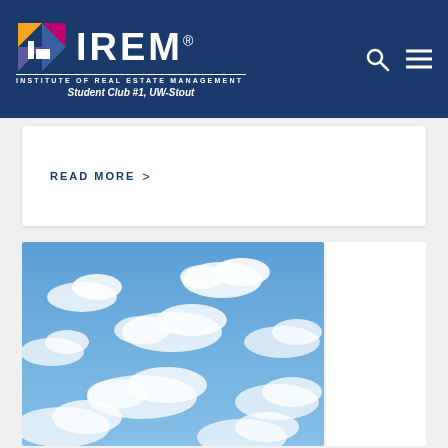IREM® INSTITUTE OF REAL ESTATE MANAGEMENT Student Club #1, UW-Stout
READ MORE >
[Figure (photo): Blue sky with white fluffy clouds]